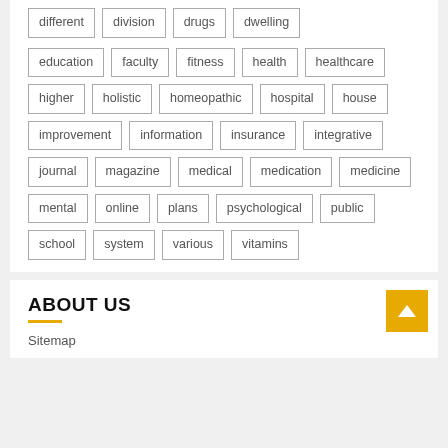different
division
drugs
dwelling
education
faculty
fitness
health
healthcare
higher
holistic
homeopathic
hospital
house
improvement
information
insurance
integrative
journal
magazine
medical
medication
medicine
mental
online
plans
psychological
public
school
system
various
vitamins
ABOUT US
Sitemap